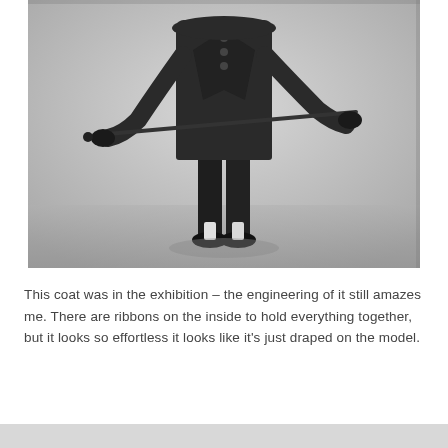[Figure (photo): Black and white photograph of a mannequin or model wearing a dark tailored coat/suit, holding an umbrella or cane horizontally, shot against a light grey background. The figure is photographed from approximately waist up to below the knee, showing the structured garment.]
This coat was in the exhibition – the engineering of it still amazes me. There are ribbons on the inside to hold everything together, but it looks so effortless it looks like it's just draped on the model.